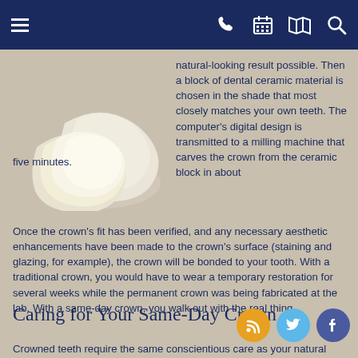Navigation bar with menu, phone, calendar, map, and search icons
[Figure (photo): Two white ceramic dental crowns against a tan/beige background]
natural-looking result possible. Then a block of dental ceramic material is chosen in the shade that most closely matches your own teeth. The computer's digital design is transmitted to a milling machine that carves the crown from the ceramic block in about five minutes.
Once the crown's fit has been verified, and any necessary aesthetic enhancements have been made to the crown's surface (staining and glazing, for example), the crown will be bonded to your tooth. With a traditional crown, you would have to wear a temporary restoration for several weeks while the permanent crown was being fabricated at the lab. With a same-day crown, you walk out with the real thing.
Caring for Your Same-Day Crown
Crowned teeth require the same conscientious care as your natural